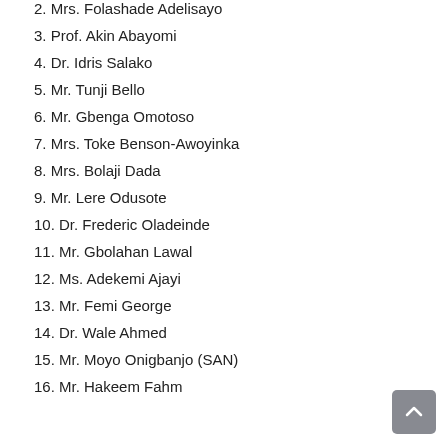2. Mrs. Folashade Adelisayo
3. Prof. Akin Abayomi
4. Dr. Idris Salako
5. Mr. Tunji Bello
6. Mr. Gbenga Omotoso
7. Mrs. Toke Benson-Awoyinka
8. Mrs. Bolaji Dada
9. Mr. Lere Odusote
10. Dr. Frederic Oladeinde
11. Mr. Gbolahan Lawal
12. Ms. Adekemi Ajayi
13. Mr. Femi George
14. Dr. Wale Ahmed
15. Mr. Moyo Onigbanjo (SAN)
16. Mr. Hakeem Fahm